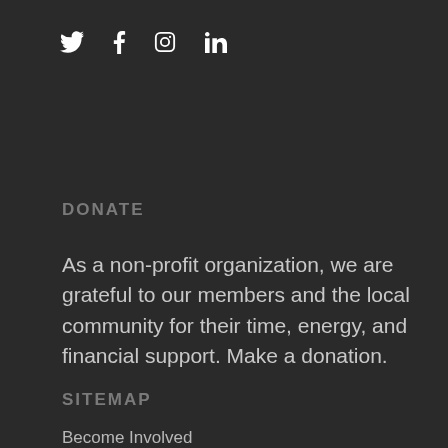[Figure (other): Social media icons row: Twitter bird, Facebook f, Instagram camera outline, LinkedIn in]
DONATE
As a non-profit organization, we are grateful to our members and the local community for their time, energy, and financial support. Make a donation.
SITEMAP
Become Involved